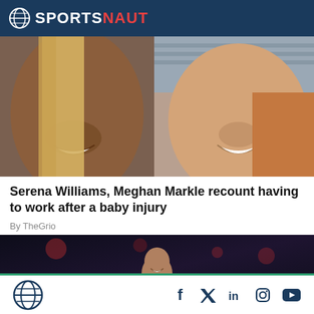SPORTSNAUT
[Figure (photo): Close-up photo of two women smiling, one with dark skin and blonde hair, one with lighter skin]
Serena Williams, Meghan Markle recount having to work after a baby injury
By TheGrio
[Figure (photo): Basketball player in dark uniform pointing and smiling against a dark arena background]
Sportsnaut logo and social media icons: Facebook, Twitter, LinkedIn, Instagram, YouTube